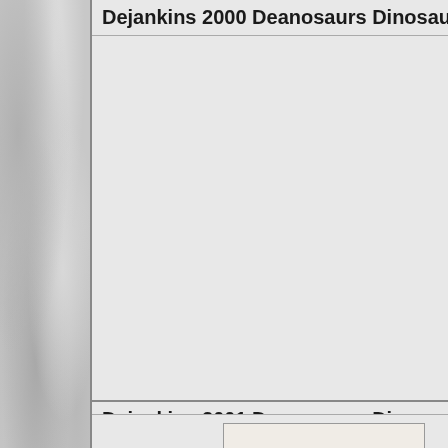Dejankins 2000 Deanosaurs Dinosaur Figure C
[Figure (photo): Empty/blank area for 2000 Deanosaurs Dinosaur Figure content]
Dejankins 2001 Deanosaurs Dinosaur Figure C
[Figure (photo): Partial image showing colorful DEANOSAURS text logo/banner at bottom of page]